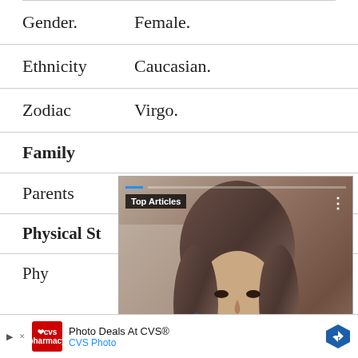| Gender. | Female. |
| Ethnicity | Caucasian. |
| Zodiac | Virgo. |
| Family |  |
| Parents |  |
| Physical St... |  |
| Phy... |  |
[Figure (screenshot): Video overlay showing a woman's photo with Top Articles label, playback controls (pause, mute), blue next arrow button, and caption text: 'Maia Reficco Wiki, Boyfriend, Age, Height, Parents, Net Worth & More - Celebsweek- Biogr...' with a Close X button]
[Figure (screenshot): Bottom advertisement bar: CVS pharmacy logo, 'Photo Deals At CVS® CVS Photo' text, blue diamond arrow icon, and a close X link]